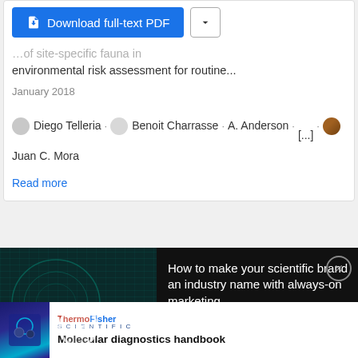[Figure (screenshot): Download full-text PDF button (blue) and a chevron/dropdown button]
...of site-specific fauna in environmental risk assessment for routine...
January 2018
Diego Telleria · Benoit Charrasse · A. Anderson · [...] · Juan C. Mora
Read more
[Figure (screenshot): Dark advertisement banner with video thumbnail. Text overlay on video: HOW TO MAKE YOUR SCIENTIFIC BRAND AN INDUSTRY NAME WITH ALWAYS-ON MARKETING. Right side text: How to make your scientific brand an industry name with always-on marketing. Close button (X) in top right.]
[Figure (screenshot): Thermo Fisher Scientific advertisement for Molecular diagnostics handbook. Blue/purple book cover image on left, Thermo Fisher Scientific logo and title on right.]